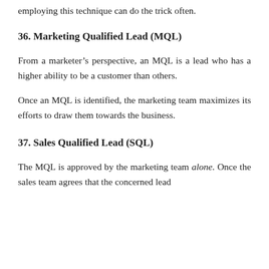employing this technique can do the trick often.
36. Marketing Qualified Lead (MQL)
From a marketer's perspective, an MQL is a lead who has a higher ability to be a customer than others.
Once an MQL is identified, the marketing team maximizes its efforts to draw them towards the business.
37. Sales Qualified Lead (SQL)
The MQL is approved by the marketing team alone. Once the sales team agrees that the concerned lead